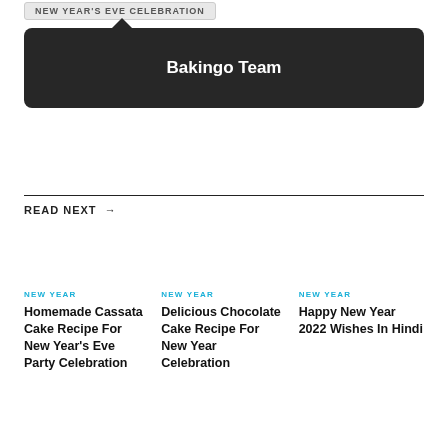NEW YEAR'S EVE CELEBRATION
Bakingo Team
READ NEXT →
NEW YEAR
Homemade Cassata Cake Recipe For New Year's Eve Party Celebration
NEW YEAR
Delicious Chocolate Cake Recipe For New Year Celebration
NEW YEAR
Happy New Year 2022 Wishes In Hindi